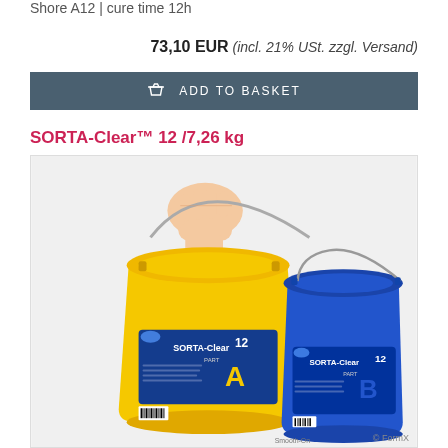Shore A12 | cure time 12h
73,10 EUR (incl. 21% USt. zzgl. Versand)
ADD TO BASKET
SORTA-Clear™ 12 /7,26 kg
[Figure (photo): Two buckets of SORTA-Clear 12 silicone mold rubber — a yellow bucket labeled Part A and a blue bucket labeled Part B, with a hand holding the yellow bucket's wire handle.]
© FormX